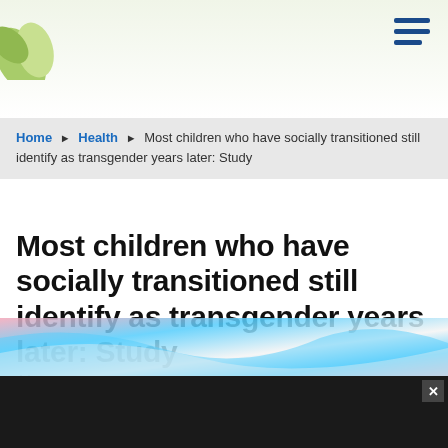[Figure (photo): Top banner with green leaves/plant illustration on white/light green background, with hamburger menu icon in top right]
Home ► Health ► Most children who have socially transitioned still identify as transgender years later: Study
Most children who have socially transitioned still identify as transgender years later: Study
Wed, May 4, 2022 by ABC News
[Figure (infographic): Social share buttons: Facebook (blue), Twitter (light blue), LinkedIn (dark blue), Pinterest (red), Email (green)]
[Figure (photo): Transgender pride flag colors - pink, white, and blue wavy banner image at bottom of page]